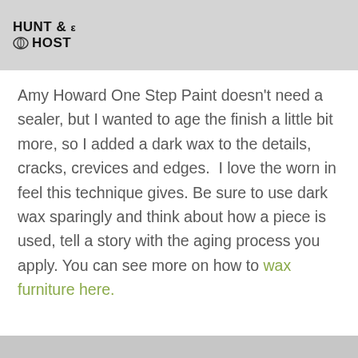HUNT & HOST
Amy Howard One Step Paint doesn't need a sealer, but I wanted to age the finish a little bit more, so I added a dark wax to the details, cracks, crevices and edges.  I love the worn in feel this technique gives. Be sure to use dark wax sparingly and think about how a piece is used, tell a story with the aging process you apply. You can see more on how to wax furniture here.
[Figure (photo): Gray/light colored background image strip at bottom of page]